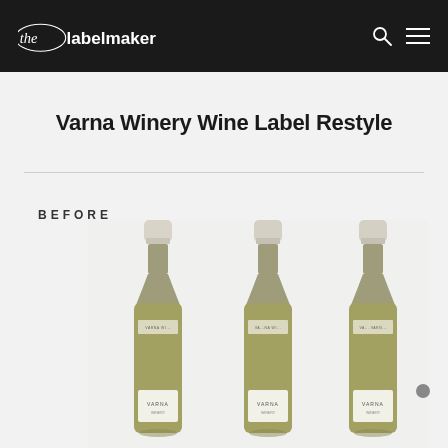the labelmaker
Varna Winery Wine Label Restyle
BEFORE
[Figure (photo): Three green wine bottles with white capsules and Varna Winery labels shown side by side, photographed against a light grey background. This is the 'before' image showing the original label design.]